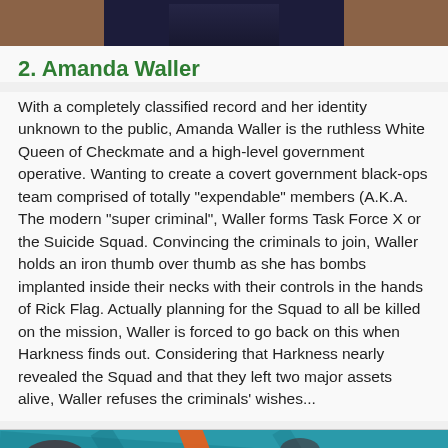[Figure (illustration): Top portion of a comic book illustration showing a figure in dark clothing against a brown background]
2. Amanda Waller
With a completely classified record and her identity unknown to the public, Amanda Waller is the ruthless White Queen of Checkmate and a high-level government operative. Wanting to create a covert government black-ops team comprised of totally "expendable" members (A.K.A. The modern "super criminal", Waller forms Task Force X or the Suicide Squad. Convincing the criminals to join, Waller holds an iron thumb over thumb as she has bombs implanted inside their necks with their controls in the hands of Rick Flag. Actually planning for the Squad to all be killed on the mission, Waller is forced to go back on this when Harkness finds out. Considering that Harkness nearly revealed the Squad and that they left two major assets alive, Waller refuses the criminals' wishes...
[Figure (illustration): Bottom comic book illustration showing an orange-clad figure with a weapon against a teal/blue splattered background with dark red marks]